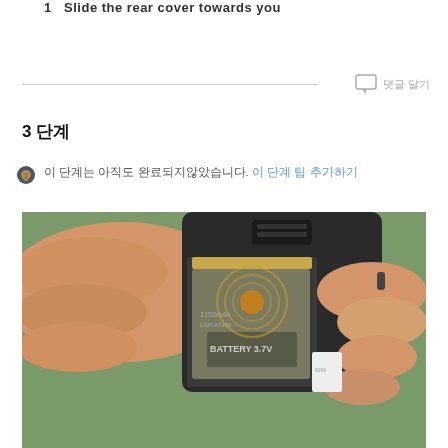1  Slide the rear cover towards you
말풍선 아이콘  댓글 달기
3 단계
이 단계는 아직도 완료되지않았습니다. 이 단계 팁 추가하기
[Figure (photo): Hands holding a mobile phone with its back cover open, revealing a battery labeled BATTERY 3.7V]